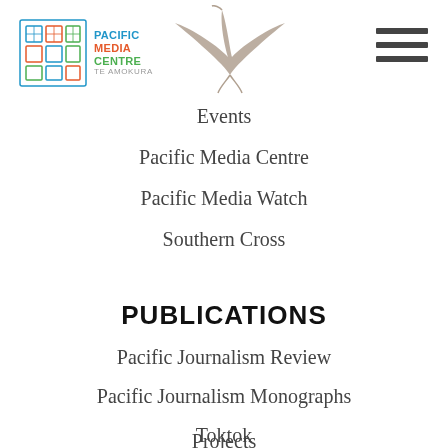[Figure (logo): Pacific Media Centre logo with geometric square pattern and text PACIFIC MEDIA CENTRE TE AMOKURA, with a bird (tern) illustration to the right]
Events
Pacific Media Centre
Pacific Media Watch
Southern Cross
PUBLICATIONS
Pacific Journalism Review
Pacific Journalism Monographs
Toktok
Projects